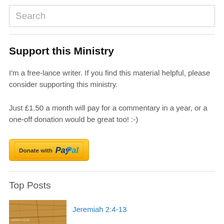Search
Support this Ministry
I'm a free-lance writer. If you find this material helpful, please consider supporting this ministry.
Just £1.50 a month will pay for a commentary in a year, or a one-off donation would be great too! :-)
[Figure (other): Donate with PayPal button]
Top Posts
[Figure (photo): Thumbnail image with wood/stone texture]
Jeremiah 2:4-13